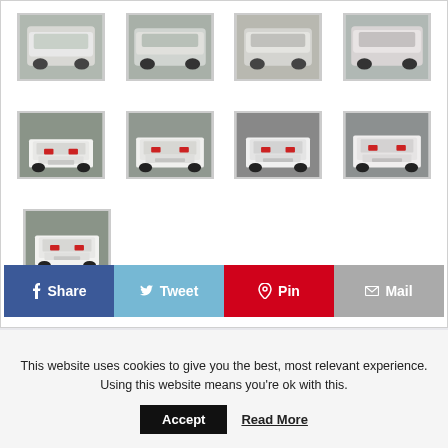[Figure (screenshot): Gallery of white BMW car thumbnail images arranged in a grid, partially visible top row of 4, full second row of 4, and third row with 1 thumbnail. Below the gallery is a social sharing bar with Share, Tweet, Pin, and Mail buttons.]
This website uses cookies to give you the best, most relevant experience. Using this website means you're ok with this.
Accept   Read More